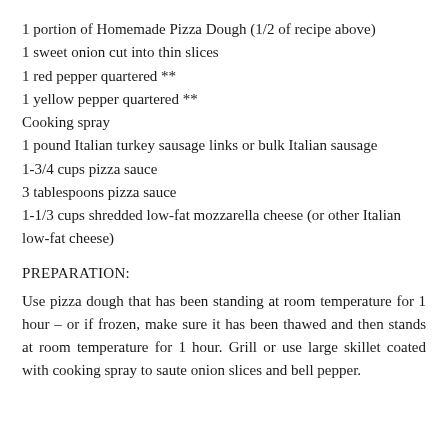1 portion of Homemade Pizza Dough (1/2 of recipe above)
1 sweet onion cut into thin slices
1 red pepper quartered **
1 yellow pepper quartered **
Cooking spray
1 pound Italian turkey sausage links or bulk Italian sausage
1-3/4 cups pizza sauce
3 tablespoons pizza sauce
1-1/3 cups shredded low-fat mozzarella cheese (or other Italian low-fat cheese)
PREPARATION:
Use pizza dough that has been standing at room temperature for 1 hour – or if frozen, make sure it has been thawed and then stands at room temperature for 1 hour. Grill or use large skillet coated with cooking spray to saute onion slices and bell pepper.